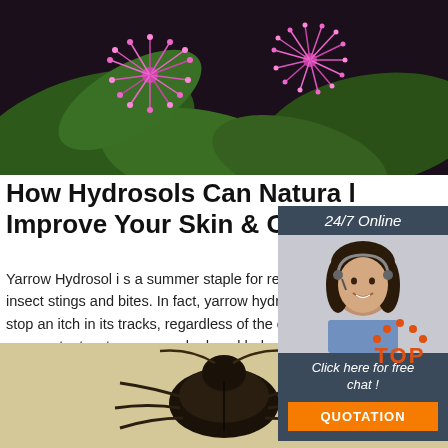[Figure (photo): Close-up photo of pink/magenta fluffy flowers with green leaves on dark background]
How Hydrosols Can Naturally Improve Your Skin & Overall
Yarrow Hydrosol i s a summer staple for relieving insect stings and bites. In fact, yarrow hydrosol is stop an itch in its tracks, regardless of the cause more potent waters, yarrow hydrosol helps stop t from allergic reactions and is a great choice for r conditions such as eczema and ...
[Figure (infographic): Sidebar advertisement with 24/7 Online text, customer service representative photo wearing headset, Click here for free chat text, and orange QUOTATION button]
Get Price
[Figure (other): TOP button icon with orange dots forming a roof/house shape above the word TOP in orange]
[Figure (photo): Close-up photo of a beetle/bug on a beige/cream background]